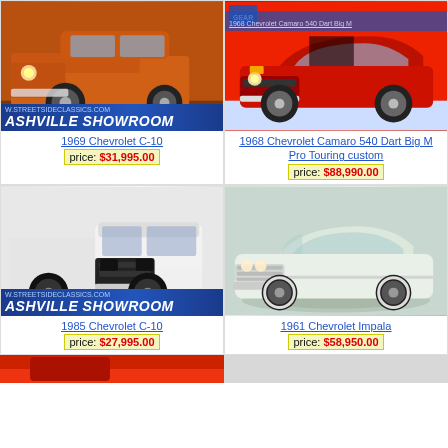[Figure (photo): 1969 Chevrolet C-10 orange pickup truck, front view, with NASHVILLE SHOWROOM banner overlay]
1969 Chevrolet C-10
price: $31,995.00
[Figure (photo): 1968 Chevrolet Camaro 540 Dart Big M Pro Touring custom red muscle car, front view]
1968 Chevrolet Camaro 540 Dart Big M Pro Touring custom
price: $88,990.00
[Figure (photo): 1985 Chevrolet C-10 white pickup truck, front 3/4 view, with NASHVILLE SHOWROOM banner overlay]
1985 Chevrolet C-10
price: $27,995.00
[Figure (photo): 1961 Chevrolet Impala white classic car, 3/4 front view on turntable]
1961 Chevrolet Impala
price: $58,950.00
[Figure (photo): Partial view of another classic car at bottom of page]